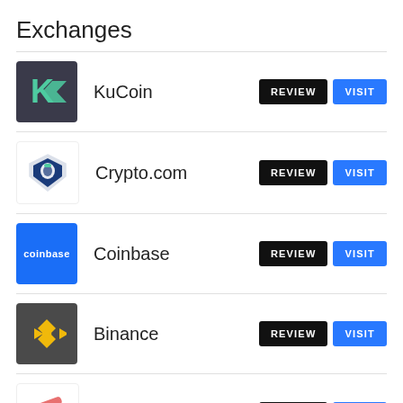Exchanges
KuCoin
Crypto.com
Coinbase
Binance
BitMex
PrimeXBT